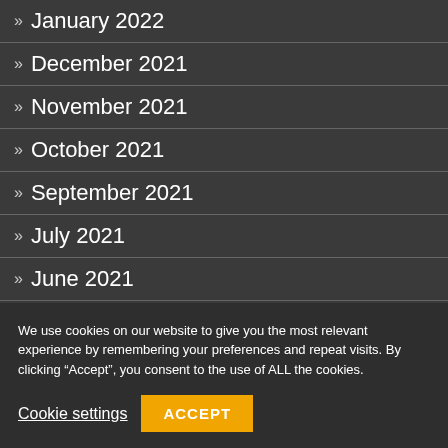» January 2022
» December 2021
» November 2021
» October 2021
» September 2021
» July 2021
» June 2021
» May 2021
» April 2021
We use cookies on our website to give you the most relevant experience by remembering your preferences and repeat visits. By clicking “Accept”, you consent to the use of ALL the cookies.
Cookie settings
ACCEPT